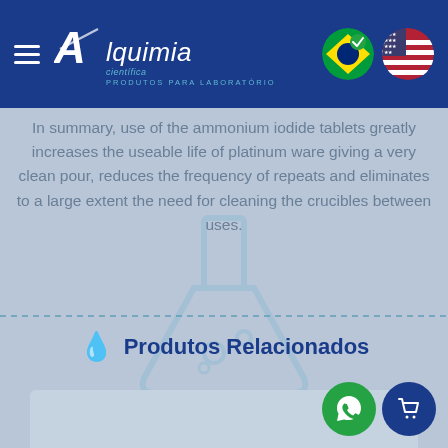Alquimia Científica — PRODUTOS PARA LABORATÓRIO
In summary, use of the ammonium iodide tablets greatly increases the useable life of platinum ware giving a very clean pour, reduces the frequency of repeats and eliminates to a large extent the need for cleaning the crucibles between uses.
Produtos Relacionados
[Figure (other): Empty product card placeholder area with WhatsApp and cart floating action buttons]